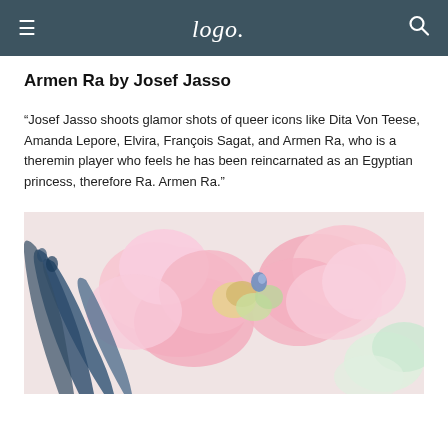Logo
Armen Ra by Josef Jasso
“Josef Jasso shoots glamor shots of queer icons like Dita Von Teese, Amanda Lepore, Elvira, François Sagat, and Armen Ra, who is a theremin player who feels he has been reincarnated as an Egyptian princess, therefore Ra. Armen Ra.”
[Figure (photo): Close-up photo of pink flowers and blue peacock feathers, decorative floral arrangement with pastel colors on a light background]